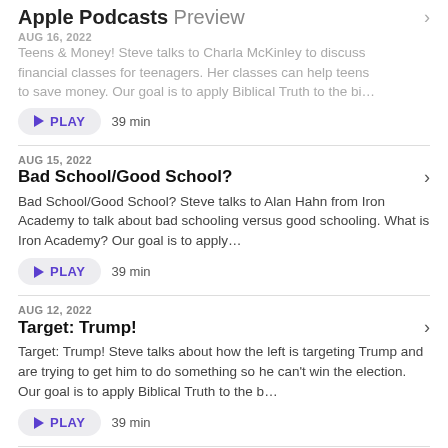Apple Podcasts Preview
AUG 16, 2022
Teens & Money! Steve talks to Charla McKinley to discuss financial classes for teenagers. Her classes can help teens to save money. Our goal is to apply Biblical Truth to the bi…
PLAY  39 min
AUG 15, 2022
Bad School/Good School?
Bad School/Good School? Steve talks to Alan Hahn from Iron Academy to talk about bad schooling versus good schooling. What is Iron Academy? Our goal is to apply…
PLAY  39 min
AUG 12, 2022
Target: Trump!
Target: Trump! Steve talks about how the left is targeting Trump and are trying to get him to do something so he can't win the election. Our goal is to apply Biblical Truth to the b…
PLAY  39 min
Show 10 More Episodes